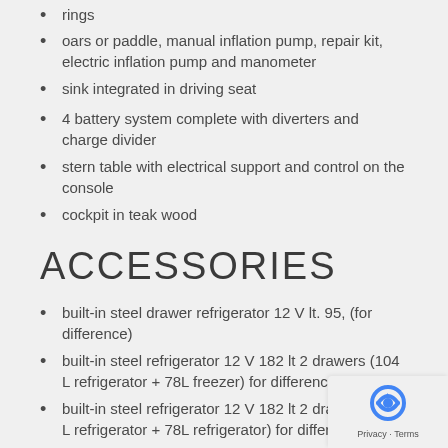rings
oars or paddle, manual inflation pump, repair kit, electric inflation pump and manometer
sink integrated in driving seat
4 battery system complete with diverters and charge divider
stern table with electrical support and control on the console
cockpit in teak wood
ACCESSORIES
built-in steel drawer refrigerator 12 V lt. 95, (for difference)
built-in steel refrigerator 12 V 182 lt 2 drawers (104 L refrigerator + 78L freezer) for difference
built-in steel refrigerator 12 V 182 lt 2 drawers (104 L refrigerator + 78L refrigerator) for difference